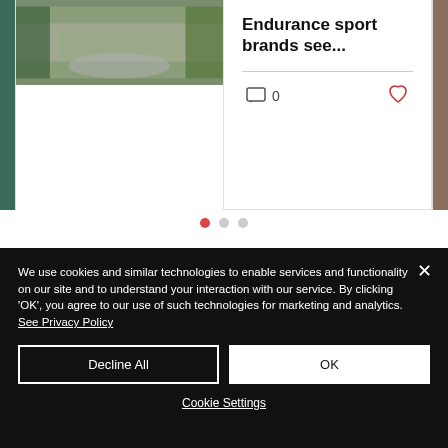[Figure (photo): Partial view of cycling/biking road scene, center card image]
Endurance sport brands see...
0 comments, like button
Carousel navigation dots (3 dots, first active)
We use cookies and similar technologies to enable services and functionality on our site and to understand your interaction with our service. By clicking 'OK', you agree to our use of such technologies for marketing and analytics. See Privacy Policy
Decline All | OK
Cookie Settings